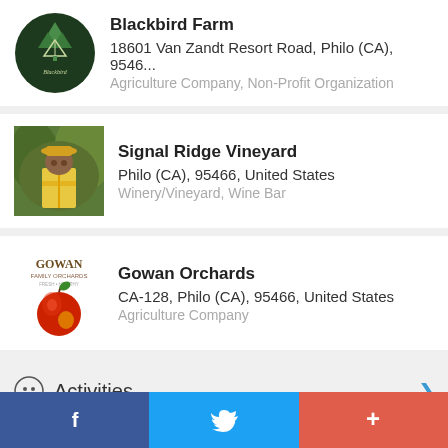[Figure (logo): Blackbird Farm / Camp Blackbird circular dark green logo with trees and tent]
Blackbird Farm
18601 Van Zandt Resort Road, Philo (CA), 9546...
Agriculture Company, Non-Profit Organization
[Figure (photo): Person in yellow vest and hat outdoors among green foliage]
Signal Ridge Vineyard
Philo (CA), 95466, United States
Winery/Vineyard, Wine Bar
[Figure (logo): Gowan Family Orchards logo with red apple]
Gowan Orchards
CA-128, Philo (CA), 95466, United States
Agriculture Company
Activities
[Figure (photo): Husch Vineyards thumbnail image]
Husch Vineyards